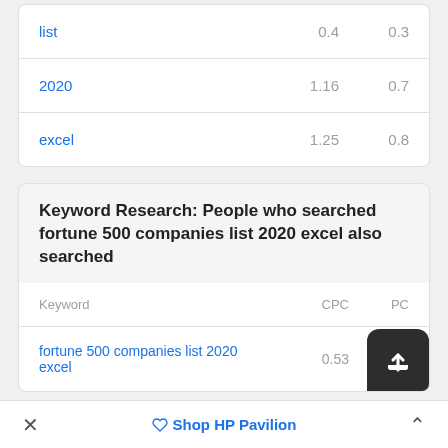| Keyword | CPC | PC |
| --- | --- | --- |
| list | 0.4 | 0.3 |
| 2020 | 1.16 | 0.7 |
| excel | 1.25 | 0.8 |
Keyword Research: People who searched fortune 500 companies list 2020 excel also searched
| Keyword | CPC | PC |
| --- | --- | --- |
| fortune 500 companies list 2020 excel | 0.53 | 0.3 |
✕   Shop HP Pavilion   ∧